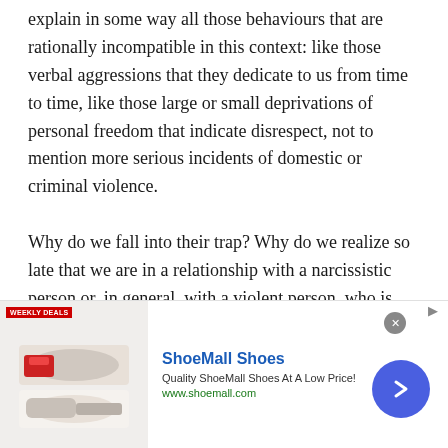explain in some way all those behaviours that are rationally incompatible in this context: like those verbal aggressions that they dedicate to us from time to time, like those large or small deprivations of personal freedom that indicate disrespect, not to mention more serious incidents of domestic or criminal violence.

Why do we fall into their trap? Why do we realize so late that we are in a relationship with a narcissistic person or, in general, with a violent person, who is capable of acts of psychological manipulation or physical aggression? To answer these questions, it
[Figure (other): Advertisement banner for ShoeMall Shoes showing a 'Weekly Deals' badge, shoe images, the text 'ShoeMall Shoes', 'Quality ShoeMall Shoes At A Low Price!', 'www.shoemall.com', a close button, and a blue circular arrow button.]